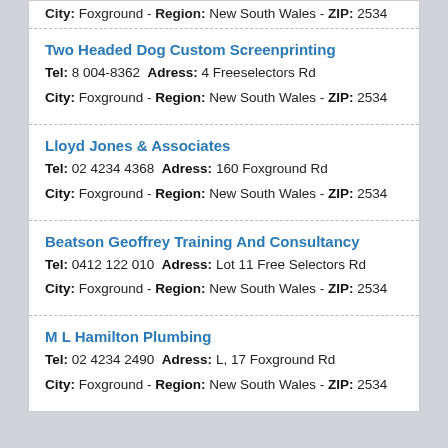City: Foxground - Region: New South Wales - ZIP: 2534
Two Headed Dog Custom Screenprinting
Tel: 8 004-8362 Adress: 4 Freeselectors Rd
City: Foxground - Region: New South Wales - ZIP: 2534
Lloyd Jones & Associates
Tel: 02 4234 4368 Adress: 160 Foxground Rd
City: Foxground - Region: New South Wales - ZIP: 2534
Beatson Geoffrey Training And Consultancy
Tel: 0412 122 010 Adress: Lot 11 Free Selectors Rd
City: Foxground - Region: New South Wales - ZIP: 2534
M L Hamilton Plumbing
Tel: 02 4234 2490 Adress: L, 17 Foxground Rd
City: Foxground - Region: New South Wales - ZIP: 2534